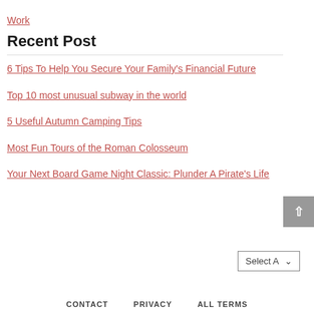Work
Recent Post
6 Tips To Help You Secure Your Family's Financial Future
Top 10 most unusual subway in the world
5 Useful Autumn Camping Tips
Most Fun Tours of the Roman Colosseum
Your Next Board Game Night Classic: Plunder A Pirate's Life
CONTACT   PRIVACY   ALL TERMS